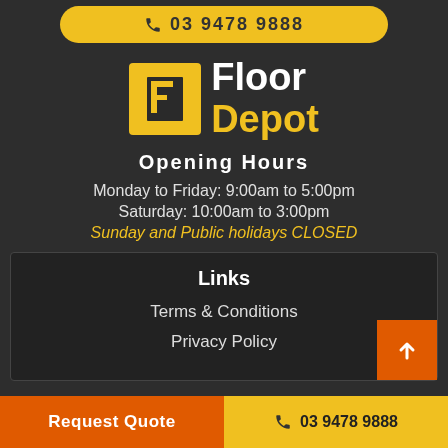03 9478 9888
[Figure (logo): Floor Depot logo — yellow F icon on yellow square background, with 'Floor' in white and 'Depot' in yellow bold text]
Opening Hours
Monday to Friday: 9:00am to 5:00pm
Saturday: 10:00am to 3:00pm
Sunday and Public holidays CLOSED
Links
Terms & Conditions
Privacy Policy
Request Quote | 03 9478 9888